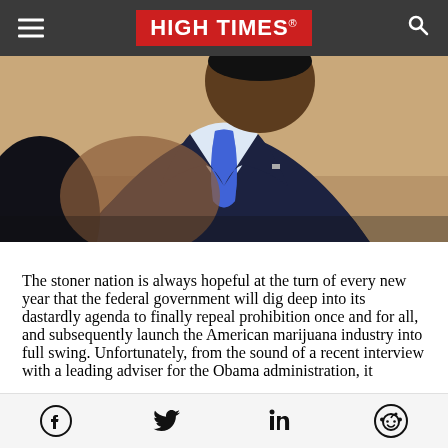HIGH TIMES
[Figure (photo): Cropped photo of a man in a dark suit with a blue tie, head bowed, appearing to be in a formal setting]
The stoner nation is always hopeful at the turn of every new year that the federal government will dig deep into its dastardly agenda to finally repeal prohibition once and for all, and subsequently launch the American marijuana industry into full swing. Unfortunately, from the sound of a recent interview with a leading adviser for the Obama administration, it
Facebook Twitter LinkedIn Reddit